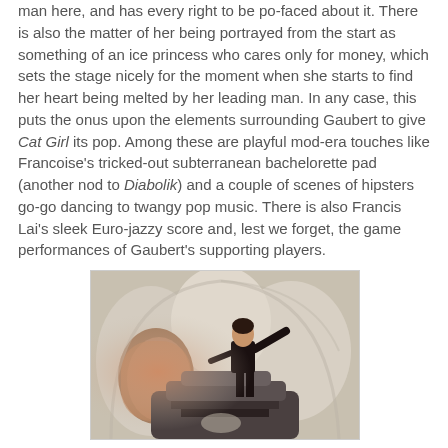man here, and has every right to be po-faced about it. There is also the matter of her being portrayed from the start as something of an ice princess who cares only for money, which sets the stage nicely for the moment when she starts to find her heart being melted by her leading man. In any case, this puts the onus upon the elements surrounding Gaubert to give Cat Girl its pop. Among these are playful mod-era touches like Francoise's tricked-out subterranean bachelorette pad (another nod to Diabolik) and a couple of scenes of hipsters go-go dancing to twangy pop music. There is also Francis Lai's sleek Euro-jazzy score and, lest we forget, the game performances of Gaubert's supporting players.
[Figure (photo): A person dressed in a black catsuit standing on a raised platform or staircase in a white cave-like or organic-shaped interior space with arched openings. The space has a surreal, mod-era aesthetic with smooth white walls.]